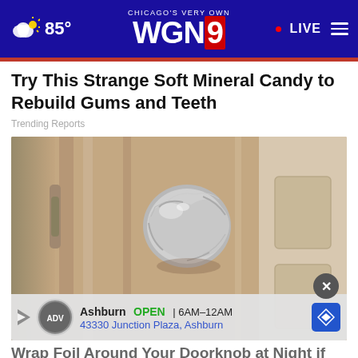CHICAGO'S VERY OWN WGN9 | 85° | LIVE
Try This Strange Soft Mineral Candy to Rebuild Gums and Teeth
Trending Reports
[Figure (photo): A door knob wrapped in aluminum foil on a wooden door]
Ashburn OPEN 6AM–12AM 43330 Junction Plaza, Ashburn
Wrap Foil Around Your Doorknob at Night if Alone,